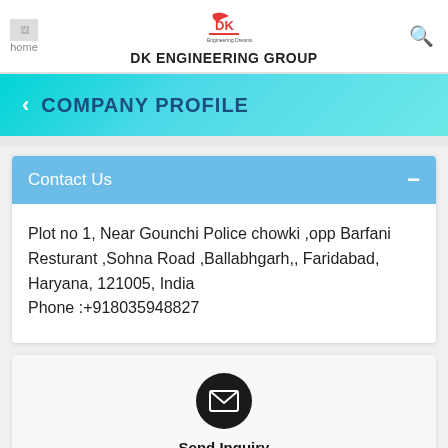DK ENGINEERING GROUP
COMPANY PROFILE
Plot no 1, Near Gounchi Police chowki ,opp Barfani Resturant ,Sohna Road ,Ballabhgarh,, Faridabad, Haryana, 121005, India Phone :+918035948827
Send Inquiry